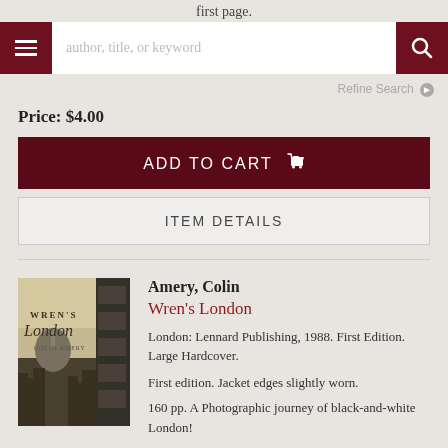first page.
[Figure (screenshot): Website navigation bar with hamburger menu button, search input field with placeholder 'author, title, or keyword', and search button, all on a dark red background]
Refine Search
Price: $4.00
ADD TO CART
ITEM DETAILS
[Figure (photo): Book cover of Wren's London by Colin Amery, showing black and white photograph of London skyline with St Paul's Cathedral]
Amery, Colin
Wren's London
London: Lennard Publishing, 1988. First Edition. Large Hardcover.
First edition. Jacket edges slightly worn.
160 pp. A Photographic journey of black-and-white London!